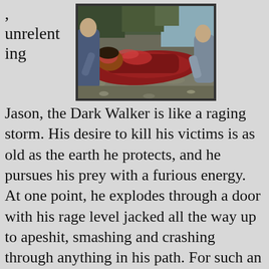, unrelenting
[Figure (photo): A bloodied person lying on the ground being restrained or attacked by others, appears to be a scene from a horror or action film.]
Jason, the Dark Walker is like a raging storm. His desire to kill his victims is as old as the earth he protects, and he pursues his prey with a furious energy. At one point, he explodes through a door with his rage level jacked all the way up to apeshit, smashing and crashing through anything in his path. For such an ancient evil, he must spend his off hours doing a lot of cardio. I loved this guy, and I wish the movie around him was better. If this was made in the '80s (and thus shot on film, presumably with more gore), this would